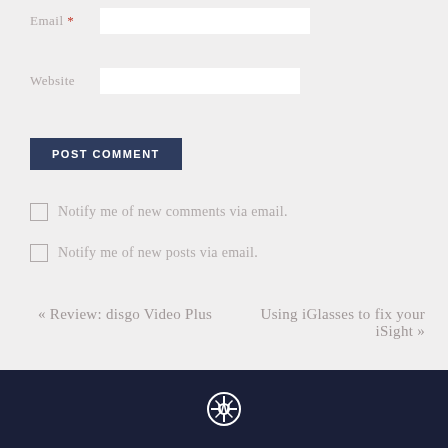Email *
Website
POST COMMENT
Notify me of new comments via email.
Notify me of new posts via email.
« Review: disgo Video Plus
Using iGlasses to fix your iSight »
[Figure (logo): WordPress logo icon in white on dark navy footer]